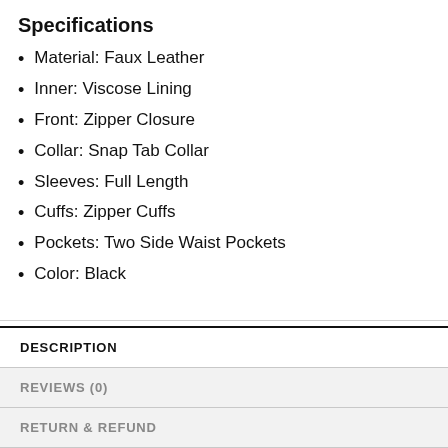Specifications
Material: Faux Leather
Inner: Viscose Lining
Front: Zipper Closure
Collar: Snap Tab Collar
Sleeves: Full Length
Cuffs: Zipper Cuffs
Pockets: Two Side Waist Pockets
Color: Black
| DESCRIPTION |
| REVIEWS (0) |
| RETURN & REFUND |